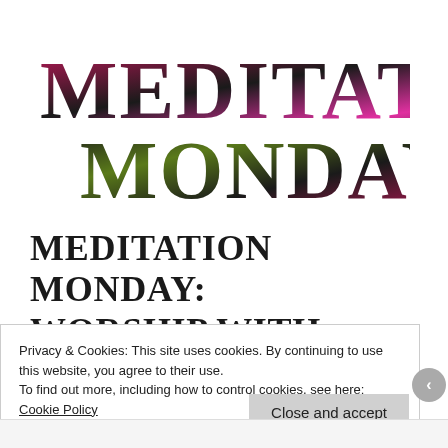[Figure (logo): Meditation Monday logo in stylized large serif font with pink/magenta and dark color gradient lettering on white background]
MEDITATION MONDAY: WORSHIP WITH GLADNESS
Privacy & Cookies: This site uses cookies. By continuing to use this website, you agree to their use.
To find out more, including how to control cookies, see here: Cookie Policy
Close and accept